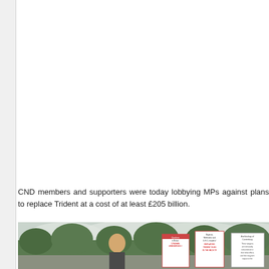CND members and supporters were today lobbying MPs against plans to replace Trident at a cost of at least £205 billion.
[Figure (photo): Photo of a man at a protest rally outdoors, holding signs. Multiple protest placards are visible with text including 'Quakers in Britain CONDEMN UNRESERVEDLY', 'Baptists, Methodist and U.R.C. leaders! REPLACING TRIDENT FLIES IN THE FACE OF', and 'Archbishop of Canterbury'. Cloudy sky and green trees in background.]